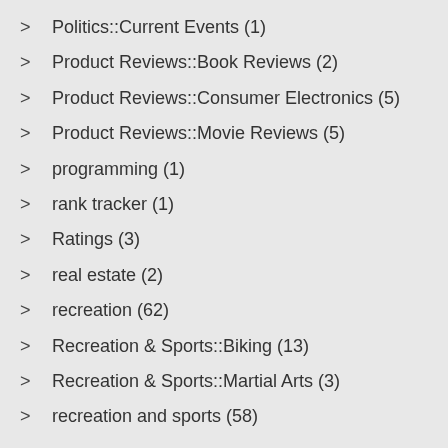Politics::Current Events (1)
Product Reviews::Book Reviews (2)
Product Reviews::Consumer Electronics (5)
Product Reviews::Movie Reviews (5)
programming (1)
rank tracker (1)
Ratings (3)
real estate (2)
recreation (62)
Recreation & Sports::Biking (13)
Recreation & Sports::Martial Arts (3)
recreation and sports (58)